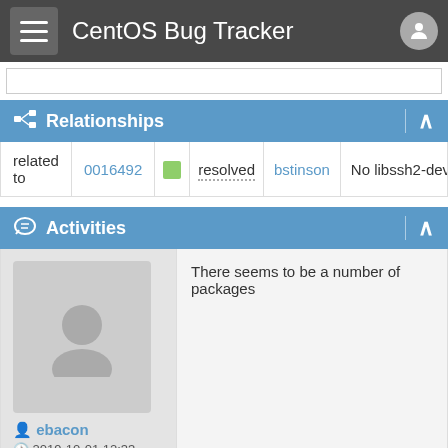CentOS Bug Tracker
Relationships
|  |  |  |  |  |  |
| --- | --- | --- | --- | --- | --- |
| related to | 0016492 |  | resolved | bstinson | No libssh2-devel packa… |
Activities
ebacon
2019-10-01 12:33
reporter  −0035281
There seems to be a number of packages
ipset-devel is also missing, and I'm sure th